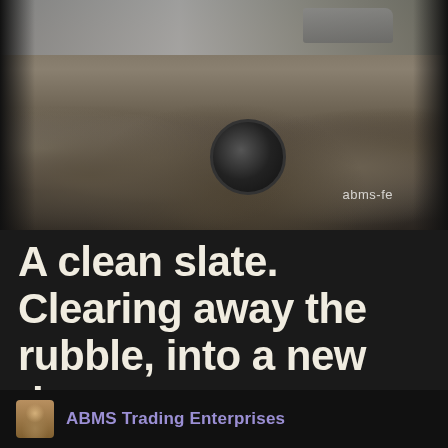[Figure (photo): Construction or demolition site showing rubble, broken concrete, a large pipe/drum in the center, and a truck visible in the background. Watermark text 'abms-fe' visible in lower right of image.]
A clean slate. Clearing away the rubble, into a new day
6 sep 2019, posted in re-blogs
ABMS Trading Enterprises